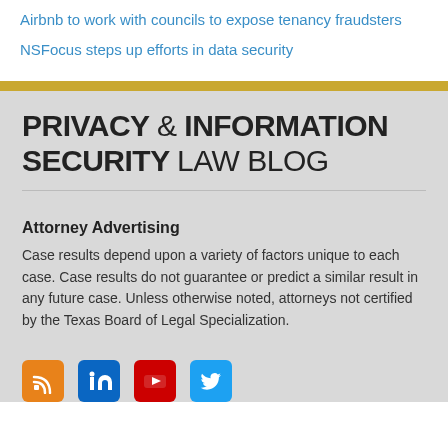Airbnb to work with councils to expose tenancy fraudsters
NSFocus steps up efforts in data security
PRIVACY & INFORMATION SECURITY LAW BLOG
Attorney Advertising
Case results depend upon a variety of factors unique to each case. Case results do not guarantee or predict a similar result in any future case. Unless otherwise noted, attorneys not certified by the Texas Board of Legal Specialization.
[Figure (infographic): Social media icons: RSS (orange), LinkedIn (blue), YouTube (red), Twitter (blue)]